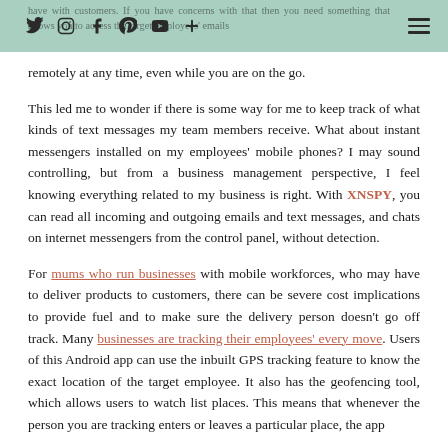Social icons: Twitter, Instagram, Facebook, Pinterest, YouTube, Plus | Hamburger menu | Faded background text about customers and emails
remotely at any time, even while you are on the go.
This led me to wonder if there is some way for me to keep track of what kinds of text messages my team members receive. What about instant messengers installed on my employees' mobile phones? I may sound controlling, but from a business management perspective, I feel knowing everything related to my business is right. With XNSPY, you can read all incoming and outgoing emails and text messages, and chats on internet messengers from the control panel, without detection.
For mums who run businesses with mobile workforces, who may have to deliver products to customers, there can be severe cost implications to provide fuel and to make sure the delivery person doesn't go off track. Many businesses are tracking their employees' every move. Users of this Android app can use the inbuilt GPS tracking feature to know the exact location of the target employee. It also has the geofencing tool, which allows users to watch list places. This means that whenever the person you are tracking enters or leaves a particular place, the app